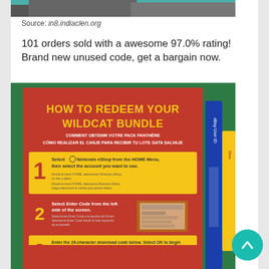[Figure (photo): Top portion of a photo, partially cropped, showing a dark gray/teal image at the top of the page]
Source: in8.indiaclen.org
101 orders sold with a awesome 97.0% rating! Brand new unused code, get a bargain now.
[Figure (photo): Photo of a Nintendo product insert card on a green cloth background showing 'HOW TO REDEEM YOUR WILDCAT BUNDLE' instructions in red and yellow with 3 numbered steps. An eBay card and another card are partially visible on the right edge. A teal circular scroll-up button overlays the bottom right corner.]